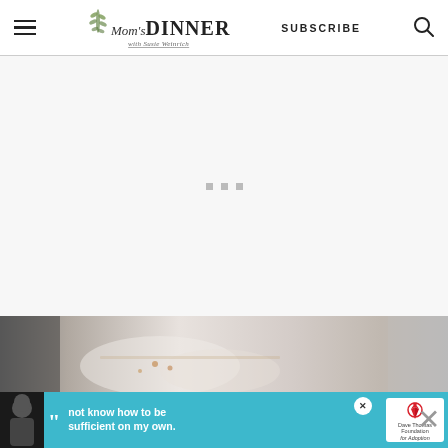Mom's DINNER with Susie Weinrich | SUBSCRIBE
[Figure (other): Large blank/loading advertisement placeholder area with three small gray square dots in the center]
[Figure (photo): Partial food photo showing what appears to be a bowl of creamy soup or dip with crispy bacon bits and a dark-rimmed plate]
[Figure (other): Advertisement banner in teal/cyan background with a person in a beanie hat on left, large quotation marks, text reading 'not know how to be sufficient on my own.', Dave Thomas Foundation for Adoption logo on right, and an X close button]